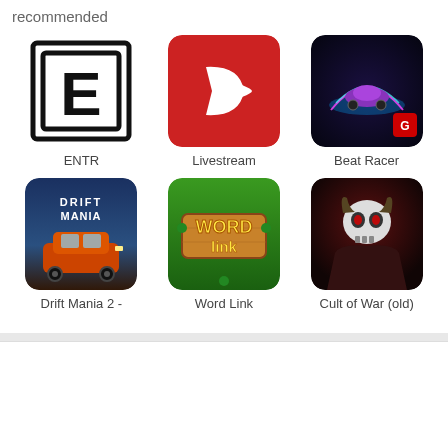recommended
[Figure (screenshot): App icon for ENTR - white background with bold E letter inside a square border]
ENTR
[Figure (screenshot): App icon for Livestream - red background with white leaf/play logo]
Livestream
[Figure (screenshot): App icon for Beat Racer - dark blue/purple background with neon car racing]
Beat Racer
[Figure (screenshot): App icon for Drift Mania 2 - racing car drifting scene]
Drift Mania 2 -
[Figure (screenshot): App icon for Word Link - green background with wooden WORD link sign]
Word Link
[Figure (screenshot): App icon for Cult of War (old) - dark red background with skull warrior]
Cult of War (old)